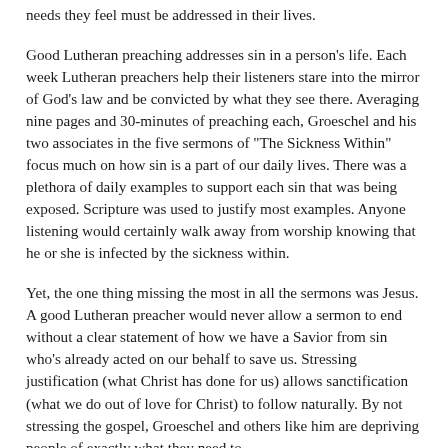needs they feel must be addressed in their lives.
Good Lutheran preaching addresses sin in a person's life. Each week Lutheran preachers help their listeners stare into the mirror of God's law and be convicted by what they see there. Averaging nine pages and 30-minutes of preaching each, Groeschel and his two associates in the five sermons of "The Sickness Within" focus much on how sin is a part of our daily lives. There was a plethora of daily examples to support each sin that was being exposed. Scripture was used to justify most examples. Anyone listening would certainly walk away from worship knowing that he or she is infected by the sickness within.
Yet, the one thing missing the most in all the sermons was Jesus. A good Lutheran preacher would never allow a sermon to end without a clear statement of how we have a Savior from sin who's already acted on our behalf to save us. Stressing justification (what Christ has done for us) allows sanctification (what we do out of love for Christ) to follow naturally. By not stressing the gospel, Groeschel and others like him are depriving people of exactly what they need to